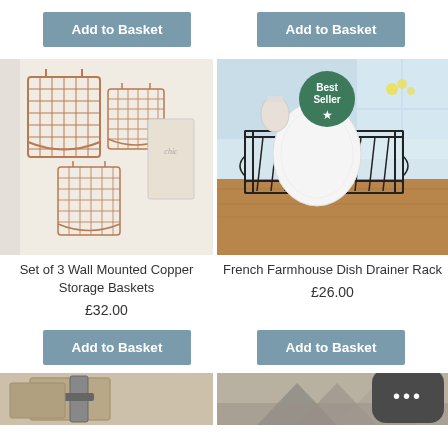[Figure (other): Add to Basket button (top left)]
[Figure (other): Add to Basket button (top right)]
[Figure (photo): Set of 3 Wall Mounted Copper Storage Baskets product photo]
[Figure (photo): French Farmhouse Dish Drainer Rack product photo with Best Seller badge]
Set of 3 Wall Mounted Copper Storage Baskets
£32.00
French Farmhouse Dish Drainer Rack
£26.00
[Figure (other): Add to Basket button (bottom left)]
[Figure (other): Add to Basket button (bottom right)]
[Figure (photo): Partial product image bottom left]
[Figure (photo): Partial product image bottom right]
[Figure (other): Chat bubble widget bottom right]